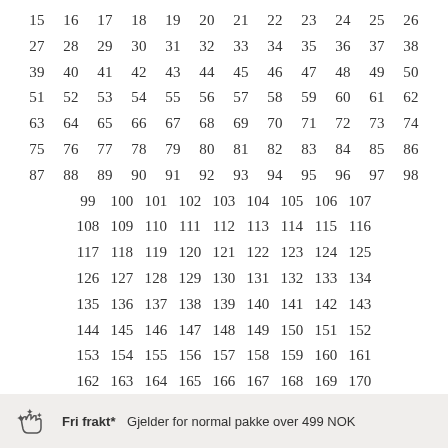15 16 17 18 19 20 21 22 23 24 25 26 27 28 29 30 31 32 33 34 35 36 37 38 39 40 41 42 43 44 45 46 47 48 49 50 51 52 53 54 55 56 57 58 59 60 61 62 63 64 65 66 67 68 69 70 71 72 73 74 75 76 77 78 79 80 81 82 83 84 85 86 87 88 89 90 91 92 93 94 95 96 97 98 99 100 101 102 103 104 105 106 107 108 109 110 111 112 113 114 115 116 117 118 119 120 121 122 123 124 125 126 127 128 129 130 131 132 133 134 135 136 137 138 139 140 141 142 143 144 145 146 147 148 149 150 151 152 153 154 155 156 157 158 159 160 161 162 163 164 165 166 167 168 169 170 171 172 173
Fri frakt* Gjelder for normal pakke over 499 NOK